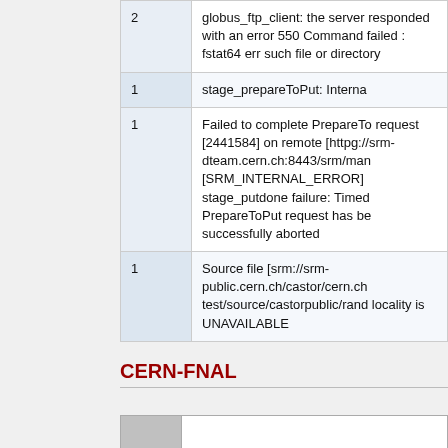| Count | Message |
| --- | --- |
| 2 | globus_ftp_client: the server responded with an error 550 Command failed : fstat64 err such file or directory |
| 1 | stage_prepareToPut: Interna |
| 1 | Failed to complete PrepareTo request [2441584] on remote [httpg://srm-dteam.cern.ch:8443/srm/man [SRM_INTERNAL_ERROR] stage_putdone failure: Timed PrepareToPut request has be successfully aborted |
| 1 | Source file [srm://srm-public.cern.ch/castor/cern.ch test/source/castorpublic/rand locality is UNAVAILABLE |
CERN-FNAL